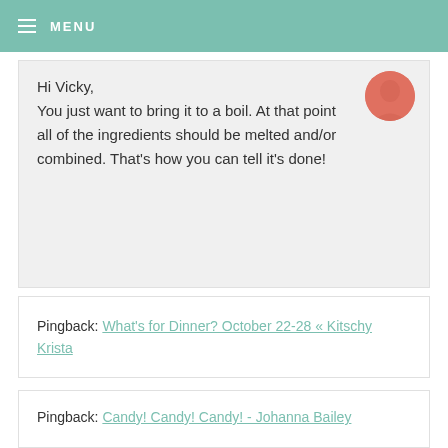MENU
Hi Vicky, You just want to bring it to a boil. At that point all of the ingredients should be melted and/or combined. That's how you can tell it's done!
Pingback: What's for Dinner? October 22-28 « Kitschy Krista
Pingback: Candy! Candy! Candy! - Johanna Bailey